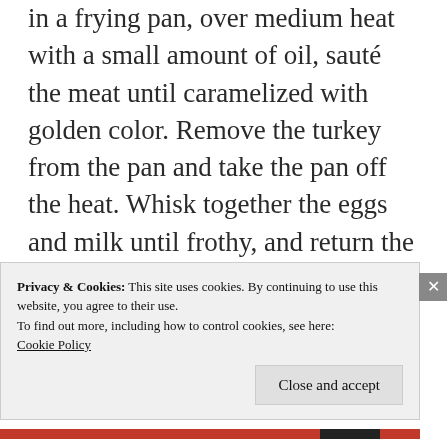in a frying pan, over medium heat with a small amount of oil, sauté the meat until caramelized with golden color. Remove the turkey from the pan and take the pan off the heat. Whisk together the eggs and milk until frothy, and return the pan to the stove. Over medium heat add the eggs to the sauté pan and cook until softly scrambled before removing from the heat. Make sure not to
Privacy & Cookies: This site uses cookies. By continuing to use this website, you agree to their use.
To find out more, including how to control cookies, see here:
Cookie Policy
Close and accept